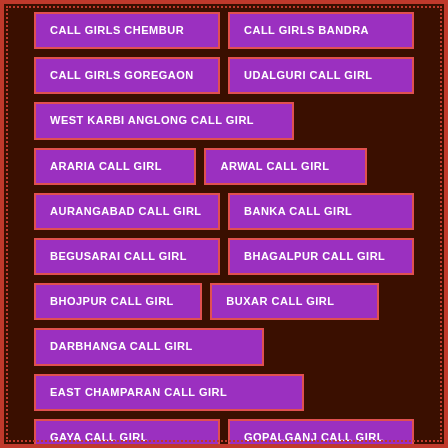CALL GIRLS CHEMBUR
CALL GIRLS BANDRA
CALL GIRLS GOREGAON
UDALGURI CALL GIRL
WEST KARBI ANGLONG CALL GIRL
ARARIA CALL GIRL
ARWAL CALL GIRL
AURANGABAD CALL GIRL
BANKA CALL GIRL
BEGUSARAI CALL GIRL
BHAGALPUR CALL GIRL
BHOJPUR CALL GIRL
BUXAR CALL GIRL
DARBHANGA CALL GIRL
EAST CHAMPARAN CALL GIRL
GAYA CALL GIRL
GOPALGANJ CALL GIRL